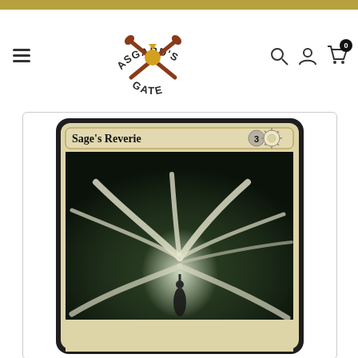Asgard's Gate - online store header with navigation
[Figure (screenshot): Magic: The Gathering card 'Sage's Reverie' with mana cost 3W, showing artwork of a figure surrounded by swirling white ribbons/scrolls in a library setting]
Sage's Reverie